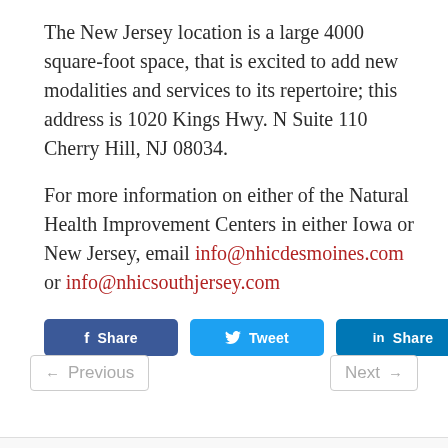The New Jersey location is a large 4000 square-foot space, that is excited to add new modalities and services to its repertoire; this address is 1020 Kings Hwy. N Suite 110 Cherry Hill, NJ 08034.
For more information on either of the Natural Health Improvement Centers in either Iowa or New Jersey, email info@nhicdesmoines.com or info@nhicsouthjersey.com
[Figure (other): Three social sharing buttons: Facebook Share (blue), Twitter Tweet (light blue), LinkedIn Share (dark teal)]
← Previous    Next →